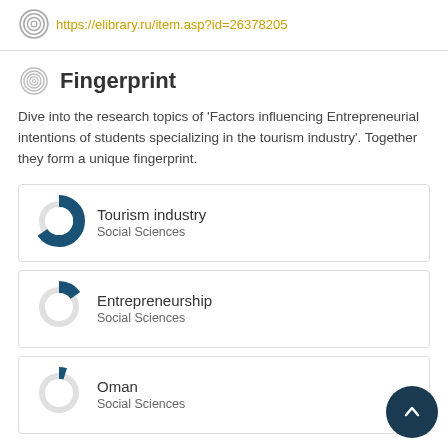https://elibrary.ru/item.asp?id=26378205
Fingerprint
Dive into the research topics of 'Factors influencing Entrepreneurial intentions of students specializing in the tourism industry'. Together they form a unique fingerprint.
[Figure (donut-chart): Donut chart ~90% fill for Tourism industry]
Tourism industry
Social Sciences
[Figure (donut-chart): Donut chart ~40% fill for Entrepreneurship]
Entrepreneurship
Social Sciences
[Figure (donut-chart): Donut chart ~30% fill for Oman]
Oman
Social Sciences